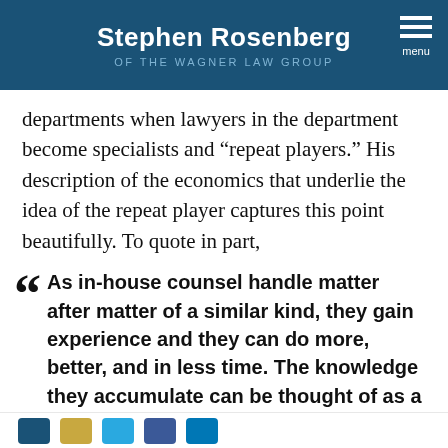Stephen Rosenberg OF THE WAGNER LAW GROUP
departments when lawyers in the department become specialists and “repeat players.” His description of the economics that underlie the idea of the repeat player captures this point beautifully. To quote in part,
As in-house counsel handle matter after matter of a similar kind, they gain experience and they can do more, better, and in less time. The knowledge they accumulate can be thought of as a by-product — a spillover from the repeated production of advice and counsel
[social media icons]